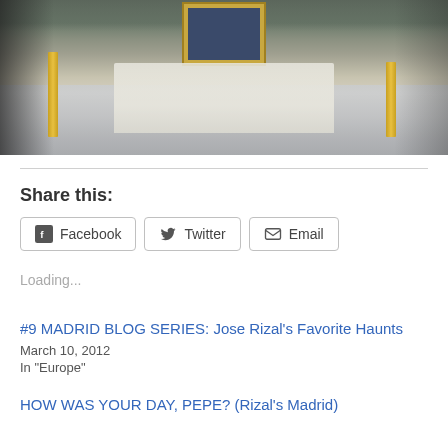[Figure (photo): Church altar scene with white figurines, gold candelabras, a painting in a gilded frame on the teal wall behind, and religious statues on the sides. White tablecloth covers the altar table.]
Share this:
Facebook  Twitter  Email
Loading...
#9 MADRID BLOG SERIES: Jose Rizal's Favorite Haunts
March 10, 2012
In "Europe"
HOW WAS YOUR DAY, PEPE? (Rizal's Madrid)